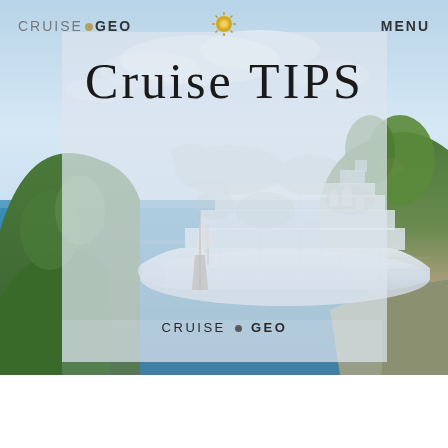[Figure (photo): Website screenshot of CruiseGeo page showing a cruise ship on blue Mediterranean water with green hilly islands, overlaid with a semi-transparent card containing the text CRUISE TIPS and the CruiseGeo logo. Navigation bar at top shows CRUISE GEO logo on left, sun icon in center, and MENU on right.]
CRUISE GEO   MENU
Cruise Tips
CRUISE GEO